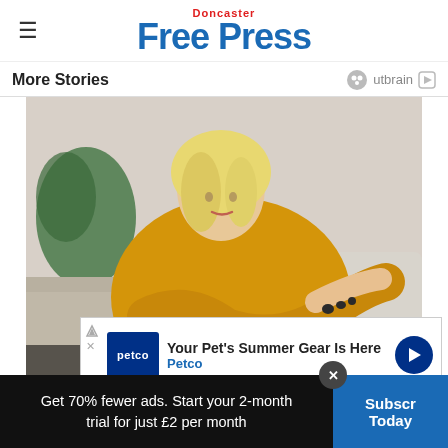Doncaster Free Press
More Stories
[Figure (photo): Woman in yellow/mustard knit sweater with blonde hair looking down at her arm/elbow while seated on a sofa. Background shows plants and neutral furnishings.]
Your Pet's Summer Gear Is Here — Petco (advertisement)
How Stress Affects Psoriasis
Get 70% fewer ads. Start your 2-month trial for just £2 per month
Subscribe Today